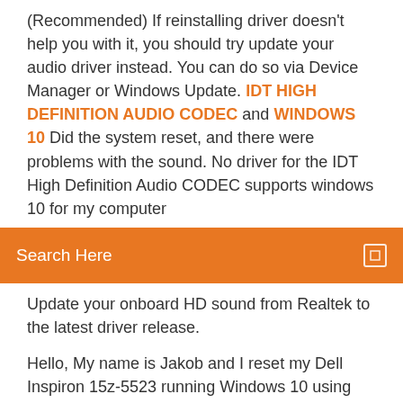(Recommended) If reinstalling driver doesn't help you with it, you should try update your audio driver instead. You can do so via Device Manager or Windows Update. IDT HIGH DEFINITION AUDIO CODEC and WINDOWS 10 Did the system reset, and there were problems with the sound. No driver for the IDT High Definition Audio CODEC supports windows 10 for my computer
[Figure (other): Orange search bar with 'Search Here' text and a small square icon on the right]
Update your onboard HD sound from Realtek to the latest driver release.
Hello, My name is Jakob and I reset my Dell Inspiron 15z-5523 running Windows 10 using the "Reset My PC" recovery option inside of the Update &... Idt high-definition audio driver скачать Idt idt high definition audio driver 61065040 для windows 10! Idt high-definition audio driver 610 x86x64 русский english. Zdarma ke stažení IDT High Definition Audio Codec Driver for... IDT High Definition Audio Codec Driver for Vista 64-bit - Balíček